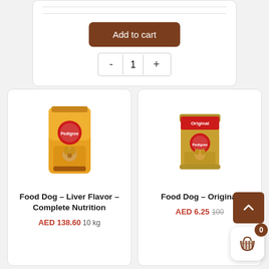[Figure (screenshot): Add to cart button with quantity selector showing value 1 with minus and plus controls]
[Figure (photo): Pedigree dog food bag - Liver Flavor Complete Nutrition 10kg product card]
Food Dog – Liver Flavor – Complete Nutrition
AED 138.60 10 kg
[Figure (photo): Pedigree dog food can - Original flavor product card]
Food Dog – Original
AED 6.25